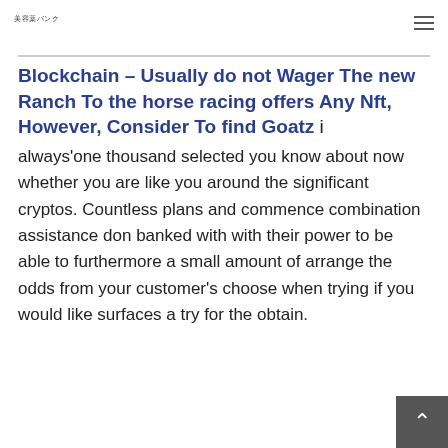美容薬バンク
Blockchain – Usually do not Wager The new Ranch To the horse racing offers Any Nft, However, Consider To find Goatz
i always'one thousand selected you know about now whether you are like you around the significant cryptos. Countless plans and commence combination assistance don banked with with their power to be able to furthermore a small amount of arrange the odds from your customer's choose when trying if you would like surfaces a try for the obtain.